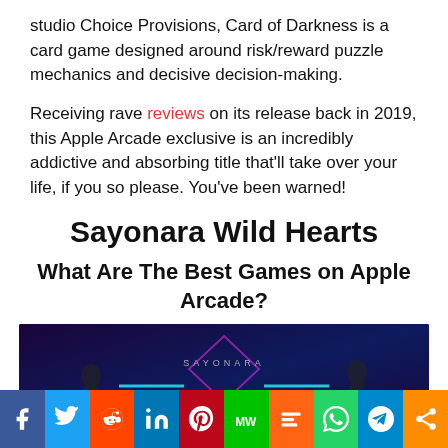studio Choice Provisions, Card of Darkness is a card game designed around risk/reward puzzle mechanics and decisive decision-making.
Receiving rave reviews on its release back in 2019, this Apple Arcade exclusive is an incredibly addictive and absorbing title that'll take over your life, if you so please. You've been warned!
Sayonara Wild Hearts
What Are The Best Games on Apple Arcade?
[Figure (photo): Sayonara Wild Hearts game screenshot showing dark background with stylized logo text 'SAYONARA WILD' with geometric diamond/wing shapes in purple and teal, with silhouetted characters on sides.]
Social share bar: Facebook, Twitter, Reddit, LinkedIn, Pinterest, MeWe, Mix, WhatsApp, Telegram, Share